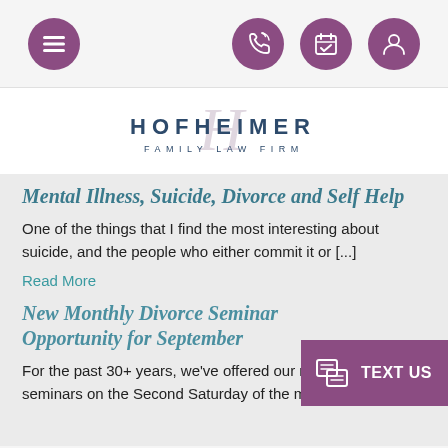[Figure (screenshot): Top navigation bar with hamburger menu icon (purple circle) on left and three icons (phone, calendar, profile) in purple circles on right]
[Figure (logo): Hofheimer Family Law Firm logo with decorative H script and text 'HOFHEIMER FAMILY LAW FIRM']
Mental Illness, Suicide, Divorce and Self Help
One of the things that I find the most interesting about suicide, and the people who either commit it or [...]
Read More
New Monthly Divorce Seminar Opportunity for September
For the past 30+ years, we've offered our monthly divorce seminars on the Second Saturday of the month. For [...]